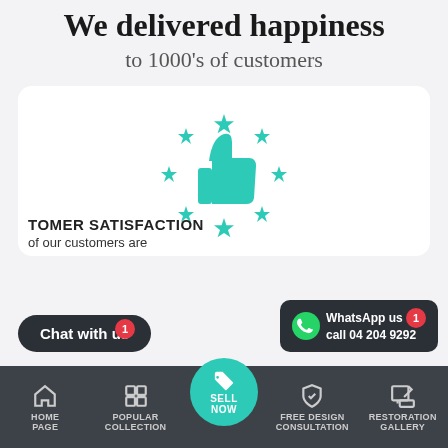We delivered happiness
to 1000's of customers
[Figure (illustration): Teal thumbs-up icon surrounded by eight teal stars arranged in a circle, customer satisfaction graphic]
CUSTOMER SATISFACTION
of our customers are
Chat with us
WhatsApp us
call 04 204 9292
HOME PAGE | POPULAR COLLECTION | SELL NOW | FREE DESIGN CONSULTATION | RESTORATION GALLERY